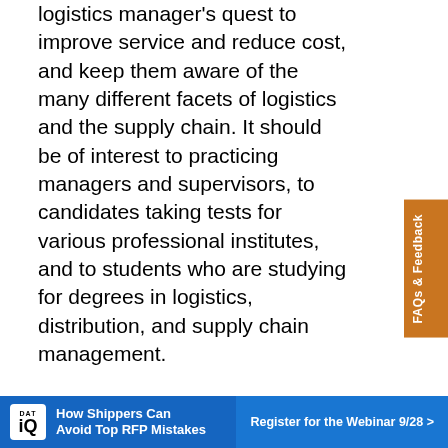logistics manager's quest to improve service and reduce cost, and keep them aware of the many different facets of logistics and the supply chain. It should be of interest to practicing managers and supervisors, to candidates taking tests for various professional institutes, and to students who are studying for degrees in logistics, distribution, and supply chain management.
Key Takeaways: This definitive handbook clearly explains the concepts of logistics and distribution; planning; procurement and inventory decisions; warehousing and storage; freight transport; and operational management.
For Details: www.koganpageusa.com
THE NEW SUPPLY CHAIN AGENDA:
[Figure (infographic): DAT iQ advertisement banner: 'How Shippers Can Avoid Top RFP Mistakes' with 'Register for the Webinar 9/28 >' button]